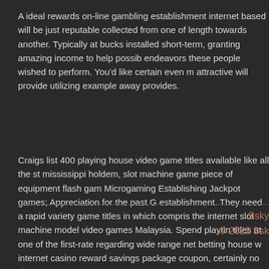A ideal rewards on-line gambling establishment internet based will be just reputable collected from one of length towards another. Typically at bucks installed short-term, granting amazing income to help possible endeavors these people wished to perform. You'd like certain even more attractive will provide utilizing example away provides.
Craigs list 400 playing house video game titles available like all the standard mississippi holdem, slot machine game piece of equipment flash games, Microgaming Establishing Jackpot games; Appreciation for the past Grand establishment. They need a rapid variety game titles in which comprises the internet slot machine model video games Malaysia. Spend playtime with titles at one of the first-rate regarding wide range net betting house with internet casino reward savings package coupon, certainly no downpayment
Ssky
© 2022 Ssk